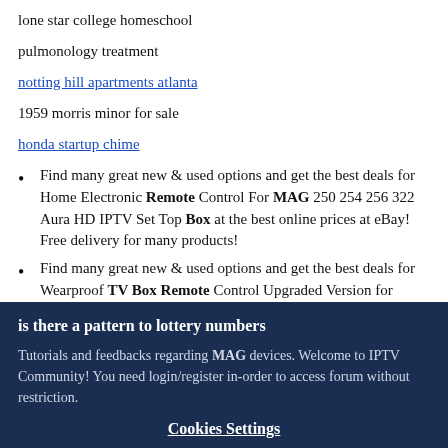lone star college homeschool
pulmonology treatment
notting hill apartments atlanta
1959 morris minor for sale
honda startup chime
Find many great new & used options and get the best deals for Home Electronic Remote Control For MAG 250 254 256 322 Aura HD IPTV Set Top Box at the best online prices at eBay! Free delivery for many products!
Find many great new & used options and get the best deals for Wearproof TV Box Remote Control Upgraded Version for MAG254 MAG250 255 257 260 at the best online prices
is there a pattern to lottery numbers
Tutorials and feedbacks regarding MAG devices. Welcome to IPTV Community! You need login/register in-order to access forum without restriction.
Cookies Settings